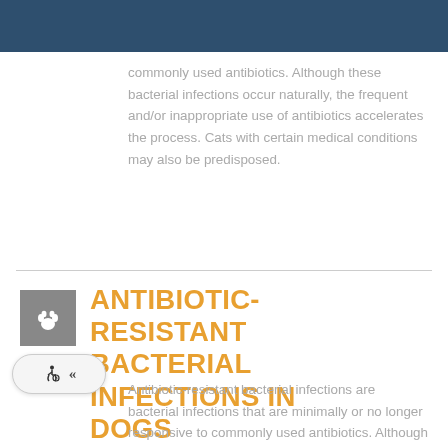commonly used antibiotics. Although these bacterial infections occur naturally, the frequent and/or inappropriate use of antibiotics accelerates the process. Cats with certain medical conditions may also be predisposed.
ANTIBIOTIC-RESISTANT BACTERIAL INFECTIONS IN DOGS
Antibiotic-resistant bacterial infections are bacterial infections that are minimally or no longer responsive to commonly used antibiotics. Although